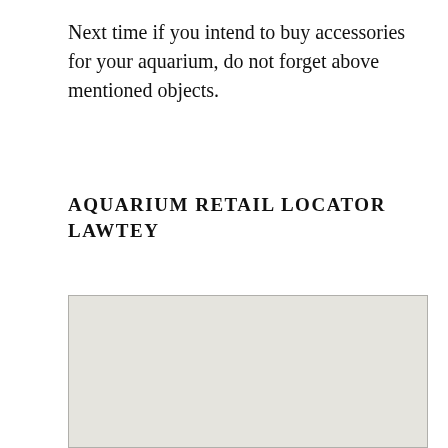Next time if you intend to buy accessories for your aquarium, do not forget above mentioned objects.
AQUARIUM RETAIL LOCATOR LAWTEY
[Figure (map): A blank light gray map area with a border, representing an aquarium retail locator map for Lawtey.]